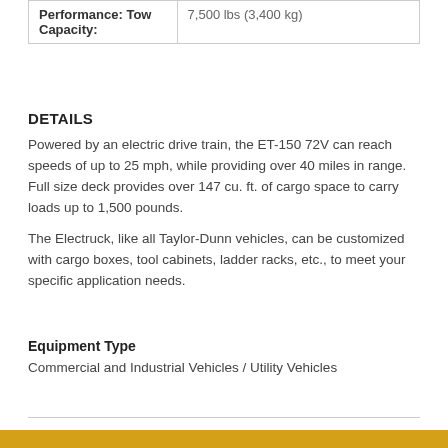|  |  |
| --- | --- |
| Performance: Tow Capacity: | 7,500 lbs (3,400 kg) |
DETAILS
Powered by an electric drive train, the ET-150 72V can reach speeds of up to 25 mph, while providing over 40 miles in range. Full size deck provides over 147 cu. ft. of cargo space to carry loads up to 1,500 pounds.
The Electruck, like all Taylor-Dunn vehicles, can be customized with cargo boxes, tool cabinets, ladder racks, etc., to meet your specific application needs.
Equipment Type
Commercial and Industrial Vehicles / Utility Vehicles